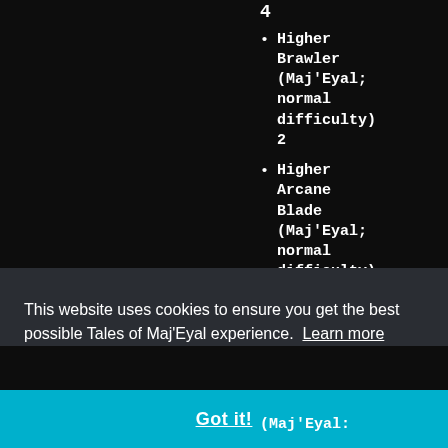4
Higher Brawler (Maj'Eyal; normal difficulty) 2
Higher Arcane Blade (Maj'Eyal; normal difficulty)
This website uses cookies to ensure you get the best possible Tales of Maj'Eyal experience.  Learn more
Got it!
(Maj'Eyal: